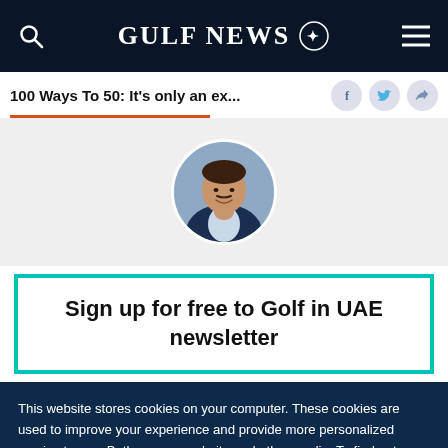GULF NEWS
100 Ways To 50: It's only an ex...
[Figure (photo): Circular author headshot photo of a man in a suit jacket]
Sign up for free to Golf in UAE newsletter
This website stores cookies on your computer. These cookies are used to improve your experience and provide more personalized service to you. Both on your website and other media. To find out more about the cookies and data we use, please check out our Privacy Policy.
OK